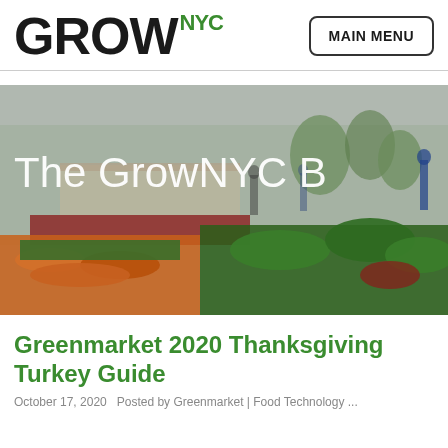GROWNYC
[Figure (photo): Outdoor farmers market scene with vegetables including carrots and leafy greens in the foreground, market stalls and people browsing in the background. Overlaid text reads: The GrowNYC B]
Greenmarket 2020 Thanksgiving Turkey Guide
October 17, 2020   Posted by Greenmarket | Food Technology ...